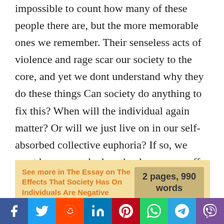impossible to count how many of these people there are, but the more memorable ones we remember. Their senseless acts of violence and rage scar our society to the core, and yet we dont understand why they do these things Can society do anything to fix this? When will the individual again matter? Or will we just live on in our self-absorbed collective euphoria? If so, we must be prepared when the drug wears off..
See more in The Essay on The Effects That Society Has On Individuals Are Negative
2 pages, 990 words
f  Twitter  Reddit  in  Pinterest  WhatsApp  Telegram  Viber